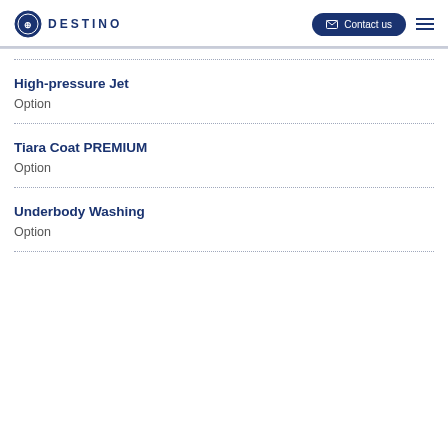DESTINO | Contact us
High-pressure Jet
Option
Tiara Coat PREMIUM
Option
Underbody Washing
Option